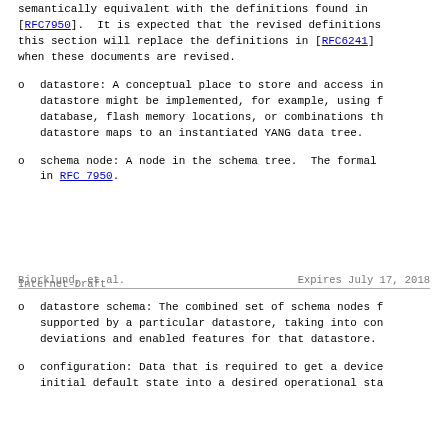semantically equivalent with the definitions found in [RFC7950]. It is expected that the revised definitions this section will replace the definitions in [RFC6241] when these documents are revised.
datastore: A conceptual place to store and access in datastore might be implemented, for example, using f database, flash memory locations, or combinations th datastore maps to an instantiated YANG data tree.
schema node: A node in the schema tree. The formal in RFC 7950.
Bjorklund, et al.                    Expires July 17, 2018
Internet-Draft
datastore schema: The combined set of schema nodes f supported by a particular datastore, taking into con deviations and enabled features for that datastore.
configuration: Data that is required to get a device initial default state into a desired operational sta...